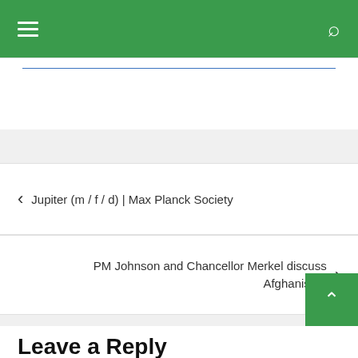Navigation bar with hamburger menu and search icon
Jupiter (m / f / d) | Max Planck Society
PM Johnson and Chancellor Merkel discuss Afghanistan
Leave a Reply
Your email address will not be published. Required fields are marked *
Comment *